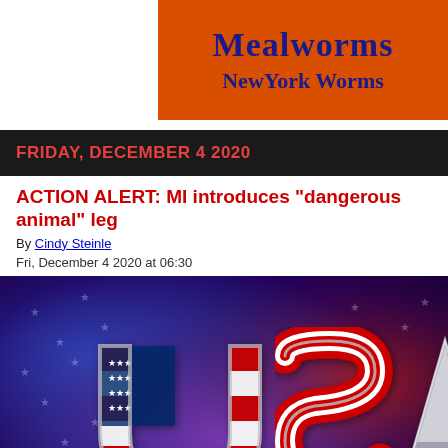Mealworms
NewYork Worms
FRIDAY, DECEMBER 4 2020
ACTION ALERT: MI introduces "dangerous animal" leg
By Cindy Steinle
Fri, December 4 2020 at 06:30
[Figure (photo): 3D metallic USA letters with American flag stars and stripes design on a red, white, and blue glowing background. Text at bottom reads 'UNITED STATES ASSOCIATION OF' and '"THERE IS STRENGTH IN NUMBERS, PRO']